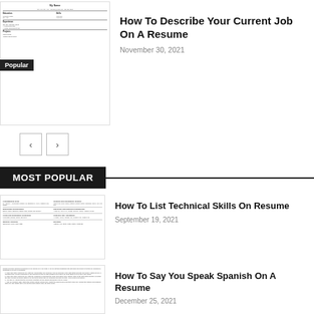[Figure (screenshot): Thumbnail of a resume document with Popular badge]
How To Describe Your Current Job On A Resume
November 30, 2021
MOST POPULAR
[Figure (screenshot): Thumbnail of a technical skills resume table]
How To List Technical Skills On Resume
September 19, 2021
[Figure (screenshot): Thumbnail of a page about how to say you speak Spanish on a resume]
How To Say You Speak Spanish On A Resume
December 25, 2021